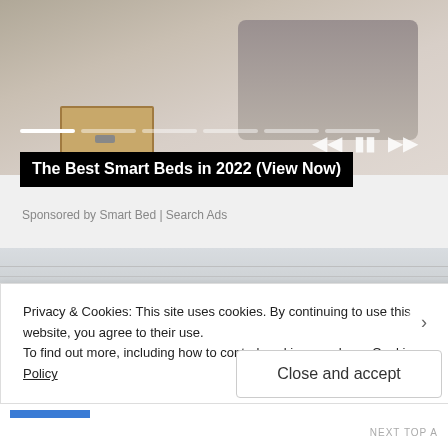[Figure (photo): Overhead view of a smart bed with open storage drawer, beige/neutral tones, with media playback controls and progress bar overlay at bottom]
The Best Smart Beds in 2022 (View Now)
Sponsored by Smart Bed | Search Ads
[Figure (photo): Street-level view of small-town commercial buildings: brick building on left, grey building with dark awnings in center, white/cream building on right]
Privacy & Cookies: This site uses cookies. By continuing to use this website, you agree to their use.
To find out more, including how to control cookies, see here: Cookie Policy
Close and accept